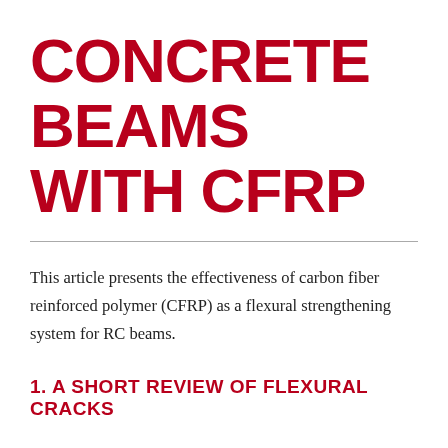CONCRETE BEAMS WITH CFRP
This article presents the effectiveness of carbon fiber reinforced polymer (CFRP) as a flexural strengthening system for RC beams.
1. A SHORT REVIEW OF FLEXURAL CRACKS